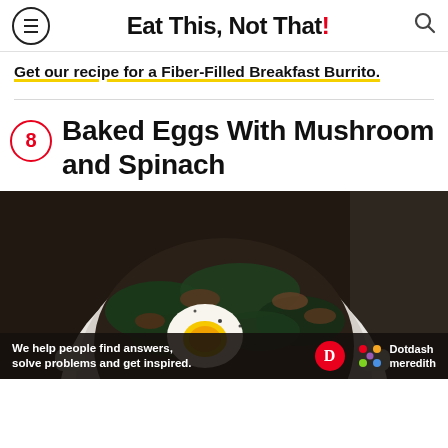Eat This, Not That!
Get our recipe for a Fiber-Filled Breakfast Burrito.
8 Baked Eggs With Mushroom and Spinach
[Figure (photo): Baked eggs with mushroom and spinach in a white ramekin dish, viewed from above, on a dark background]
We help people find answers, solve problems and get inspired. Dotdash meredith